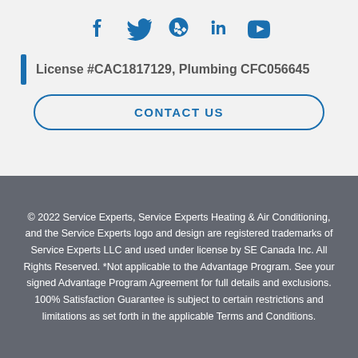[Figure (other): Social media icons: Facebook, Twitter, Yelp, LinkedIn, YouTube — all in blue]
License #CAC1817129, Plumbing CFC056645
CONTACT US
© 2022 Service Experts, Service Experts Heating & Air Conditioning, and the Service Experts logo and design are registered trademarks of Service Experts LLC and used under license by SE Canada Inc. All Rights Reserved. *Not applicable to the Advantage Program. See your signed Advantage Program Agreement for full details and exclusions. 100% Satisfaction Guarantee is subject to certain restrictions and limitations as set forth in the applicable Terms and Conditions.